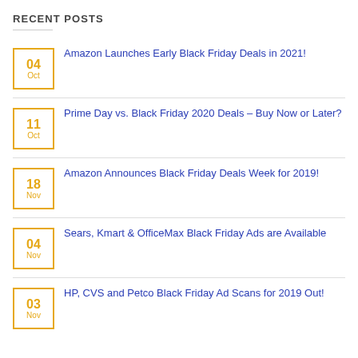RECENT POSTS
04 Oct — Amazon Launches Early Black Friday Deals in 2021!
11 Oct — Prime Day vs. Black Friday 2020 Deals – Buy Now or Later?
18 Nov — Amazon Announces Black Friday Deals Week for 2019!
04 Nov — Sears, Kmart & OfficeMax Black Friday Ads are Available
03 Nov — HP, CVS and Petco Black Friday Ad Scans for 2019 Out!